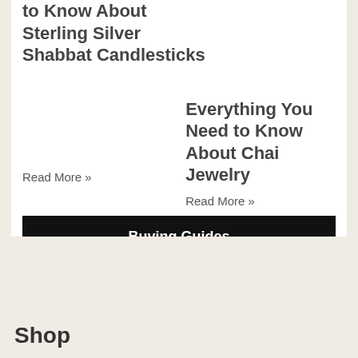to Know About Sterling Silver Shabbat Candlesticks
Everything You Need to Know About Chai Jewelry
Read More »
Read More »
Buying Guides
Blog
Shop